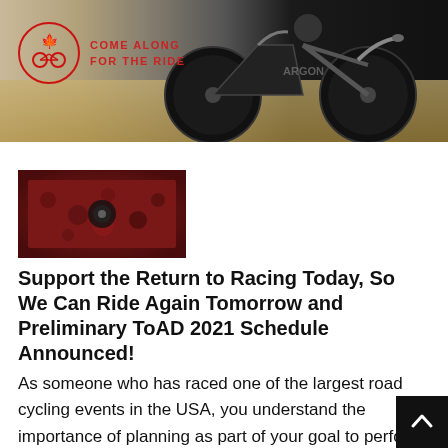[Figure (photo): Banner photo showing a cyclist on a track bike with a Canadian cycling logo 'Come Along For The Ride' on the left]
[Figure (photo): Small thumbnail image showing a crowd at a cycling event, red tones]
Support the Return to Racing Today, So We Can Ride Again Tomorrow and Preliminary ToAD 2021 Schedule Announced!
As someone who has raced one of the largest road cycling events in the USA, you understand the importance of planning as part of your goal to perform at a high level during your time at ToAD.
Our goal this year, shared by USA Cycling is to ensure that racing comes back as quickly and